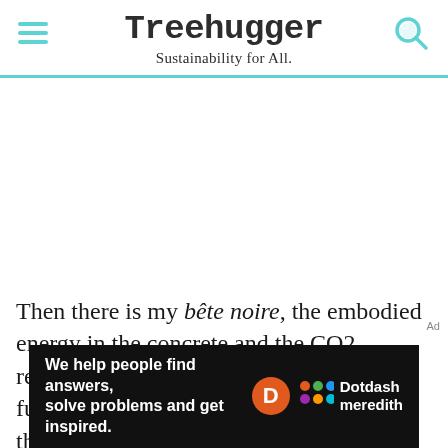Treehugger — Sustainability for All.
Then there is my bête noire, the embodied energy in the concrete and the CO2 released in its production, and the fossil fuels and flame retardants used to make the
[Figure (other): Dotdash Meredith advertisement banner: 'We help people find answers, solve problems and get inspired.']